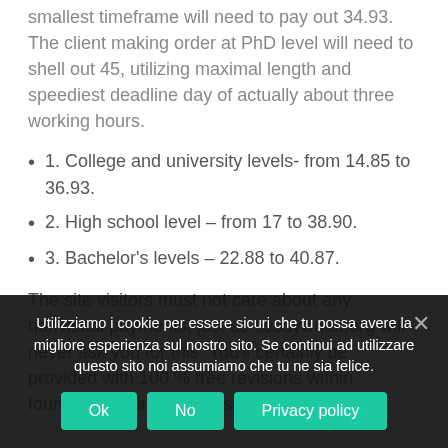smallest timeframe will need to pay out 34.93. The client making order at PhD level will need to shell out 45, utilizing maximal length and speediest deadline day of actually about three working hours.
1. College and university levels- from 14.85 to 36.93.
2. High school level – from 17 to 38.90.
3. Bachelor's levels – 22.88 to 40.87.
The site visitors must not care about any nonvisual payments, just as essaywriter.org will never ask you for this. You'll certainly be provided with 100 % free revisions within fourteen working days just after
Utilizziamo i cookie per essere sicuri che tu possa avere la migliore esperienza sul nostro sito. Se continui ad utilizzare questo sito noi assumiamo che tu ne sia felice.